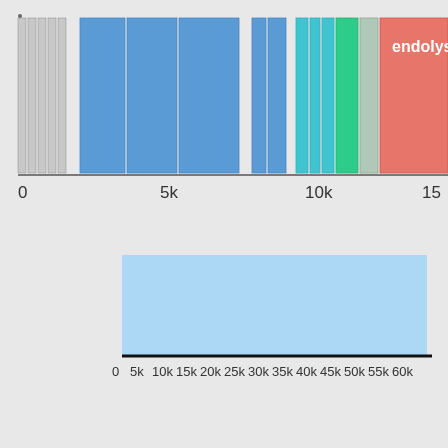[Figure (infographic): Two horizontal genome/sequence map diagrams. Top diagram shows segmented blocks of varying colors (gray striped, blue, light blue/cyan, green, salmon/red) with label 'endolysin' in the red region, with an x-axis scale showing 0, 5k, 10k, 15k. Bottom diagram shows a large light blue rectangle spanning most of the width, with a black baseline, and x-axis scale showing 0, 5k, 10k, 15k, 20k, 25k, 30k, 35k, 40k, 45k, 50k, 55k, 60k.]